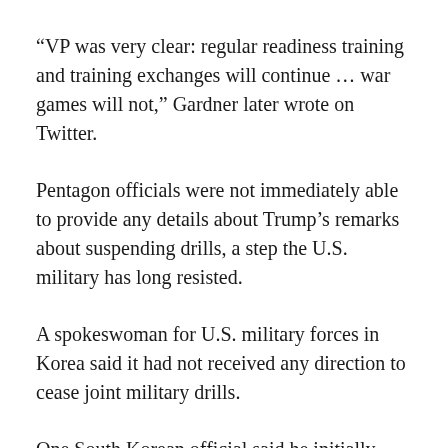“VP was very clear: regular readiness training and training exchanges will continue … war games will not,” Gardner later wrote on Twitter.
Pentagon officials were not immediately able to provide any details about Trump’s remarks about suspending drills, a step the U.S. military has long resisted.
A spokeswoman for U.S. military forces in Korea said it had not received any direction to cease joint military drills.
One South Korean official said he initially thought Trump had misspoken.